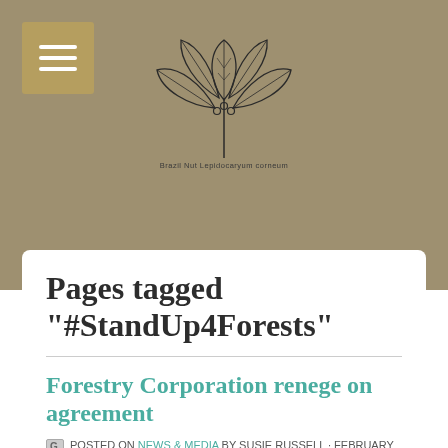[Figure (logo): Website logo with botanical leaf illustration and text 'Brazil Nut Lepidocaryum corneum']
Pages tagged "#StandUp4Forests"
Forestry Corporation renege on agreement
POSTED ON NEWS & MEDIA BY SUSIE RUSSELL · FEBRUARY 20, 2019 9:11 AM
Last Wednesday NEFA agreed to call off an action in Gibberagee State Forest (near Whiporie) in return for the Forestry Corporation's promise that within a week a joint inspection with NEFA, and the EPA if they agreed,